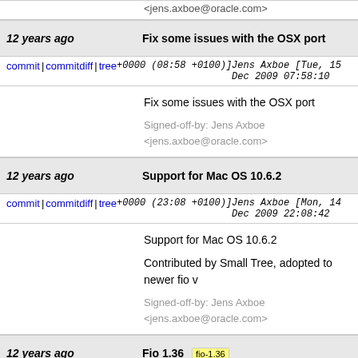<jens.axboe@oracle.com>
12 years ago | Fix some issues with the OSX port
commit | commitdiff | tree    Jens Axboe [Tue, 15 Dec 2009 07:58:10 +0000 (08:58 +0100)]
Fix some issues with the OSX port

Signed-off-by: Jens Axboe <jens.axboe@oracle.com>
12 years ago | Support for Mac OS 10.6.2
commit | commitdiff | tree    Jens Axboe [Mon, 14 Dec 2009 22:08:42 +0000 (23:08 +0100)]
Support for Mac OS 10.6.2

Contributed by Small Tree, adopted to newer fio v...

Signed-off-by: Jens Axboe <jens.axboe@oracle.com>
12 years ago | Fio 1.36 [fio-1.36]
commit | commitdiff | tree    Jens Axboe [Thu, 10 Dec 2009 22:17:39 +0000 (23:17 +0100)]
Fio 1.36